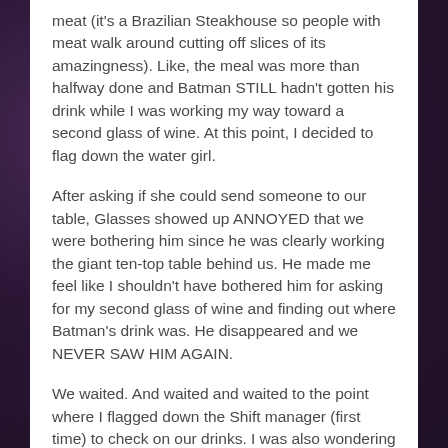meat (it's a Brazilian Steakhouse so people with meat walk around cutting off slices of its amazingness). Like, the meal was more than halfway done and Batman STILL hadn't gotten his drink while I was working my way toward a second glass of wine. At this point, I decided to flag down the water girl.
After asking if she could send someone to our table, Glasses showed up ANNOYED that we were bothering him since he was clearly working the giant ten-top table behind us. He made me feel like I shouldn't have bothered him for asking for my second glass of wine and finding out where Batman's drink was. He disappeared and we NEVER SAW HIM AGAIN.
We waited. And waited and waited to the point where I flagged down the Shift manager (first time) to check on our drinks. I was also wondering where our sides were since our meal included sides (not the cold salad bar) and I